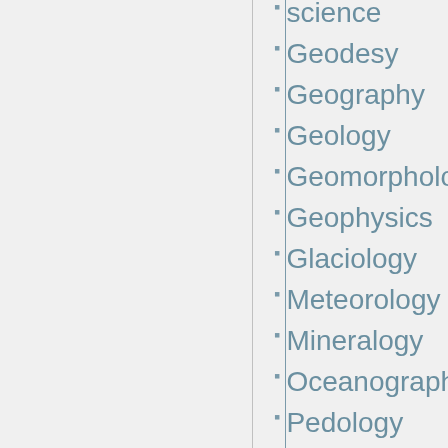science
Geodesy
Geography
Geology
Geomorphology
Geophysics
Glaciology
Meteorology
Mineralogy
Oceanography
Pedology
Paleontology
Planetary science
Sedimentology